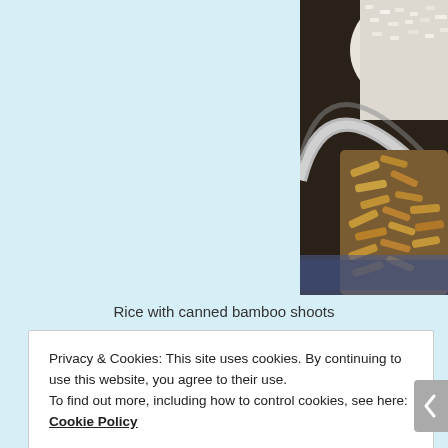[Figure (photo): A metal bowl/plate containing white rice and cooked bamboo shoots, placed on a patterned mat or tablecloth, photographed from above at an angle.]
Rice with canned bamboo shoots
Privacy & Cookies: This site uses cookies. By continuing to use this website, you agree to their use.
To find out more, including how to control cookies, see here: Cookie Policy
Close and accept